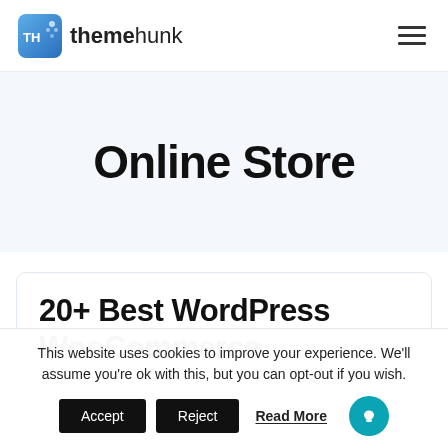themehunk
Online Store
20+ Best WordPress WooCommerce
This website uses cookies to improve your experience. We'll assume you're ok with this, but you can opt-out if you wish.